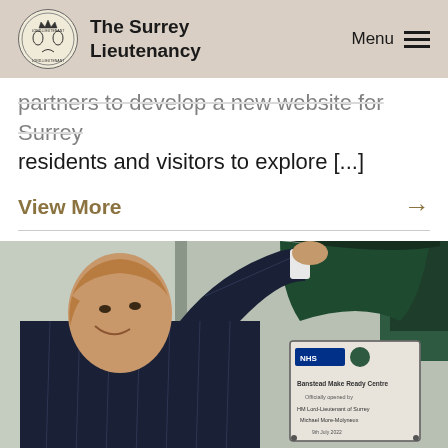The Surrey Lieutenancy | Menu
partners to develop a new website for Surrey residents and visitors to explore [...]
View More →
[Figure (photo): A smiling man in a dark pinstripe suit reaching up to unveil a plaque reading 'Banstead Make Ready Centre, Officially opened by HM Lord-Lieutenant of Surrey Michael More-Molyneux']